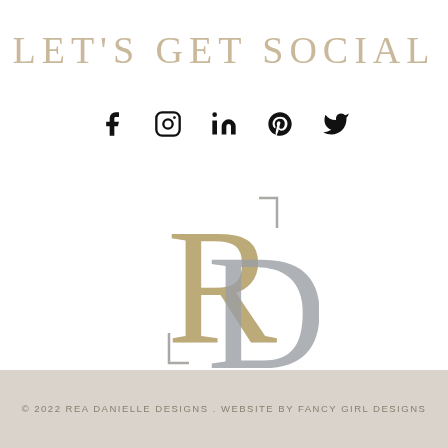LET'S GET SOCIAL
[Figure (infographic): Row of 5 social media icons: Facebook (f), Instagram (camera), LinkedIn (in), Pinterest (p), Twitter (bird), all in black]
[Figure (logo): RD monogram logo with overlapping R and D letters in gold and silver/grey tones with bracket accents]
© 2022 REA DANIELLE DESIGNS . WEBSITE BY FANCY GIRL DESIGNS